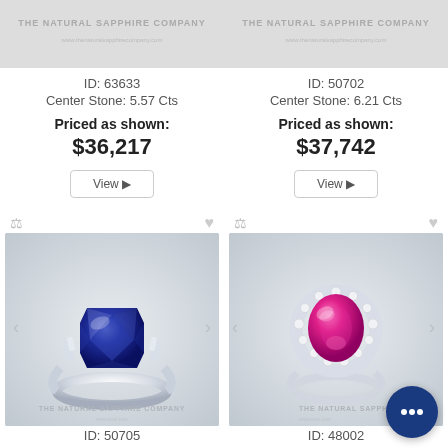[Figure (photo): Top cropped view of blue sapphire ring product image from The Natural Sapphire Company]
ID: 63633
Center Stone: 5.57 Cts
Priced as shown:
$36,217
[Figure (photo): Top cropped view of pink sapphire ring product image from The Natural Sapphire Company]
ID: 50702
Center Stone: 6.21 Cts
Priced as shown:
$37,742
[Figure (photo): Blue sapphire emerald-cut solitaire ring on white background from The Natural Sapphire Company]
ID: 50705
Center Stone: 6.21 Cts
[Figure (photo): Pink sapphire oval halo ring on white background from The Natural Sapphire Company]
ID: 48002
Center Stone: 6.52 Cts